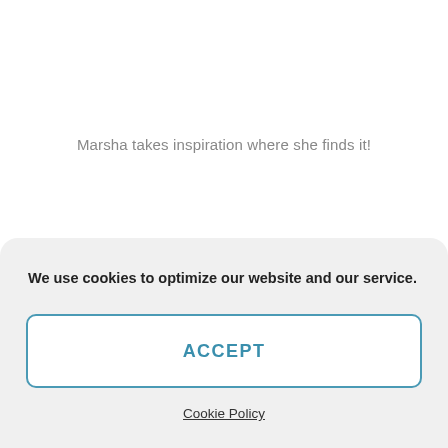Marsha takes inspiration where she finds it!
We use cookies to optimize our website and our service.
ACCEPT
Cookie Policy